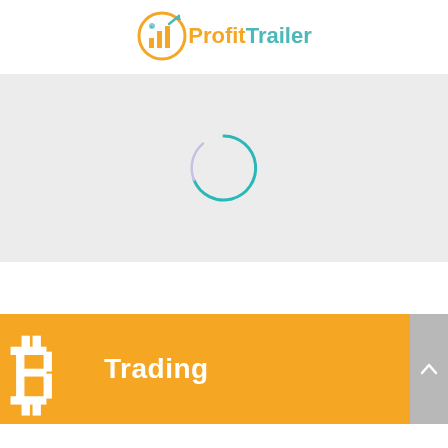[Figure (logo): ProfitTrailer logo with orange bar chart icon and teal rocket/orbit element, with 'Profit' in orange and 'Trailer' in teal text]
[Figure (other): Gray loading area with a spinner/loading indicator circle (teal top arc, light purple bottom arc)]
Trading